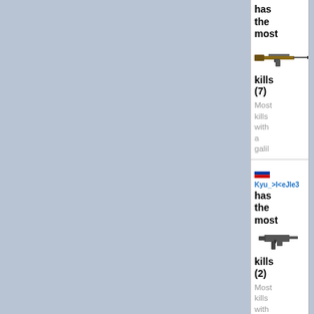[Figure (screenshot): Game statistics UI panel showing player kill stats. First card (partially visible at top): player has the most kills (7), weapon AK-47/Galil rifle image, gray text 'Most kills with a galil'. Second card: Russian flag, player name 'Kyu_>I<eJle3', has the most kills (2), MAC-10 weapon image, gray text 'Most kills with a mac10'. Third card (partially visible at bottom): Russian flag, player name 'MYX0M0P'.]